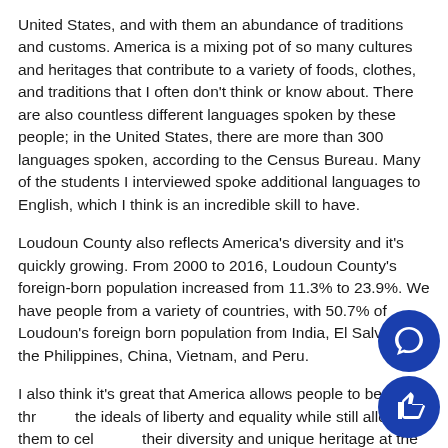United States, and with them an abundance of traditions and customs. America is a mixing pot of so many cultures and heritages that contribute to a variety of foods, clothes, and traditions that I often don't think or know about. There are also countless different languages spoken by these people; in the United States, there are more than 300 languages spoken, according to the Census Bureau. Many of the students I interviewed spoke additional languages to English, which I think is an incredible skill to have.
Loudoun County also reflects America's diversity and it's quickly growing. From 2000 to 2016, Loudoun County's foreign-born population increased from 11.3% to 23.9%. We have people from a variety of countries, with 50.7% of Loudoun's foreign born population from India, El Salvador, the Philippines, China, Vietnam, and Peru.
I also think it's great that America allows people to be united through the ideals of liberty and equality while still allowing them to celebrate their diversity and unique heritage at the same time. Immigrants can keep their traditions and customs from their home countries, but also integrate into our society and gain new traditions and customs...
[Figure (illustration): Two overlapping blue circular icons in the bottom-right corner: top circle contains a speech/comment bubble icon, bottom circle contains a thumbs-up icon.]